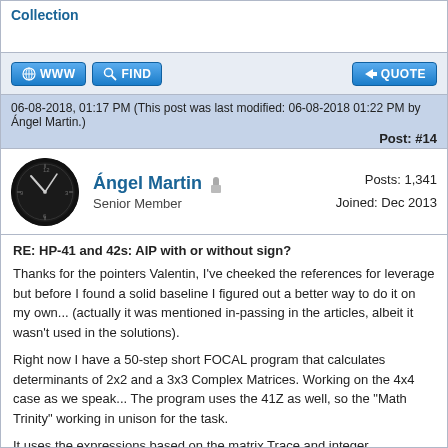Collection
[Figure (screenshot): WWW and FIND buttons on the left, QUOTE button on the right]
06-08-2018, 01:17 PM (This post was last modified: 06-08-2018 01:22 PM by Ángel Martin.)
Post: #14
[Figure (photo): Avatar of Ángel Martin - dark clock face image]
Ángel Martin  Posts: 1,341  Senior Member  Joined: Dec 2013
RE: HP-41 and 42s: AIP with or without sign?
Thanks for the pointers Valentin, I've cheeked the references for leverage but before I found a solid baseline I figured out a better way to do it on my own... (actually it was mentioned in-passing in the articles, albeit it wasn't used in the solutions).
Right now I have a 50-step short FOCAL program that calculates determinants of 2x2 and a 3x3 Complex Matrices. Working on the 4x4 case as we speak... The program uses the 41Z as well, so the "Math Trinity" working in unison for the task.
It uses the expressions based on the matrix Trace and integer